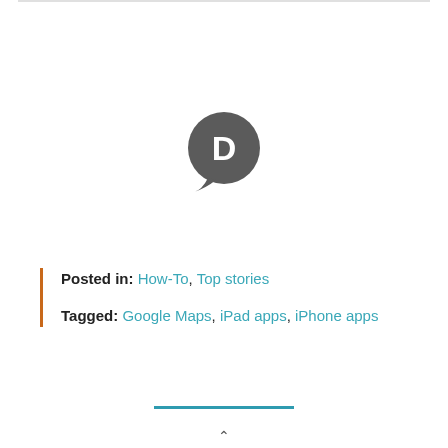[Figure (logo): Disqus logo — dark grey speech bubble circle with white letter D inside]
Posted in: How-To, Top stories
Tagged: Google Maps, iPad apps, iPhone apps